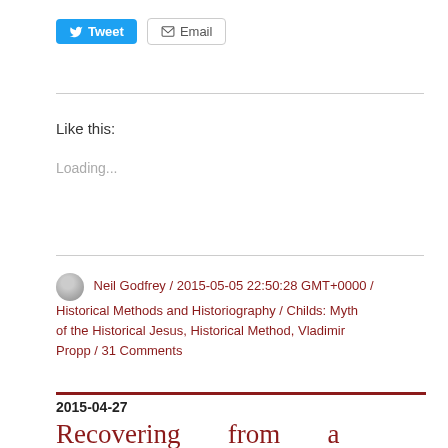[Figure (other): Tweet and Email social sharing buttons]
Like this:
Loading...
Neil Godfrey / 2015-05-05 22:50:28 GMT+0000 / Historical Methods and Historiography / Childs: Myth of the Historical Jesus, Historical Method, Vladimir Propp / 31 Comments
2015-04-27
Recovering from a Postmodernist & Jungian